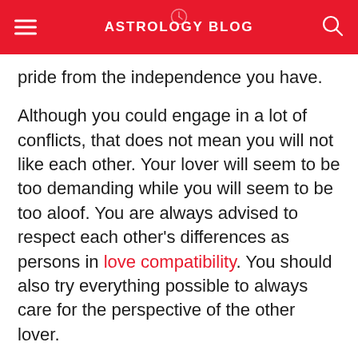ASTROLOGY BLOG
pride from the independence you have.
Although you could engage in a lot of conflicts, that does not mean you will not like each other. Your lover will seem to be too demanding while you will seem to be too aloof. You are always advised to respect each other's differences as persons in love compatibility. You should also try everything possible to always care for the perspective of the other lover.
Trust Compatibility between Aquarius and Leo